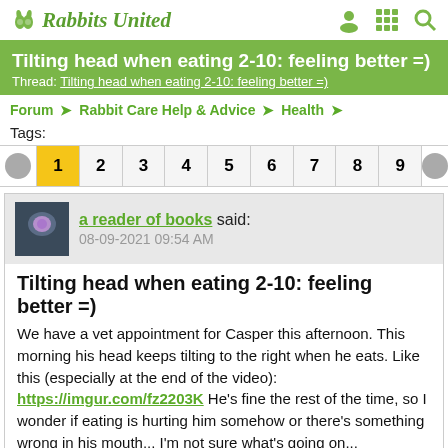Rabbits United
Tilting head when eating 2-10: feeling better =)
Thread: Tilting head when eating 2-10: feeling better =)
Forum → Rabbit Care Help & Advice → Health →
Tags:
1 2 3 4 5 6 7 8 9
a reader of books said:
08-09-2021 09:54 AM
Tilting head when eating 2-10: feeling better =)
We have a vet appointment for Casper this afternoon. This morning his head keeps tilting to the right when he eats. Like this (especially at the end of the video): https://imgur.com/fz2203K He's fine the rest of the time, so I wonder if eating is hurting him somehow or there's something wrong in his mouth... I'm not sure what's going on...